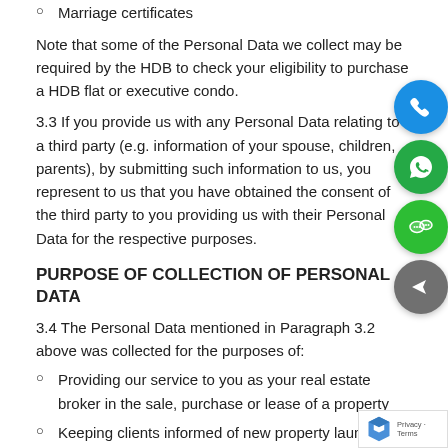Marriage certificates
Note that some of the Personal Data we collect may be required by the HDB to check your eligibility to purchase a HDB flat or executive condo.
3.3 If you provide us with any Personal Data relating to a third party (e.g. information of your spouse, children, parents), by submitting such information to us, you represent to us that you have obtained the consent of the third party to you providing us with their Personal Data for the respective purposes.
PURPOSE OF COLLECTION OF PERSONAL DATA
3.4 The Personal Data mentioned in Paragraph 3.2 above was collected for the purposes of:
Providing our service to you as your real estate broker in the sale, purchase or lease of a property
Keeping clients informed of new property launches, other properties which may be of interest, or existing property for